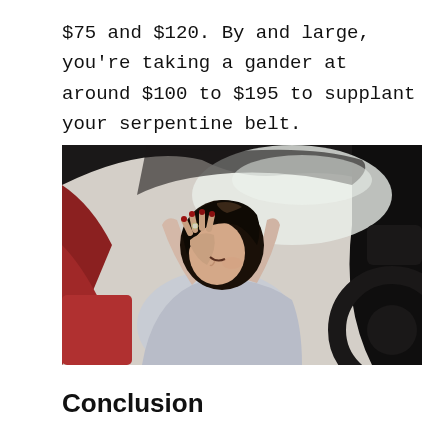$75 and $120. By and large, you're taking a gander at around $100 to $195 to supplant your serpentine belt.
[Figure (photo): A woman sitting in a car, holding her head in her hands with a stressed or frustrated expression, viewed from the passenger side.]
Conclusion